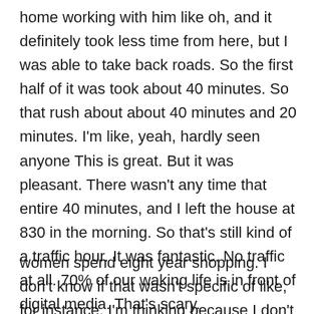home working with him like oh, and it definitely took less time from here, but I was able to take back roads. So the first half of it was took about 40 minutes. So that rush about about 40 minutes and 20 minutes. I'm like, yeah, hardly seen anyone This is great. But it was pleasant. There wasn't any time that entire 40 minutes, and I left the house at 830 in the morning. So that's still kind of a traffic hour. It was fantastic. No traffic at all. 70% of our waking life is in front of digital media. That's scary.
women spend eight year shopping. I don't know if that wasn't specific of like, for instance, I'm thinking because I don't spend that much